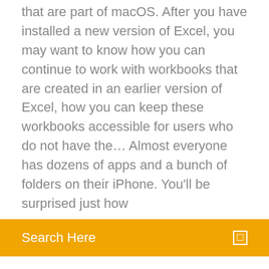that are part of macOS. After you have installed a new version of Excel, you may want to know how you can continue to work with workbooks that are created in an earlier version of Excel, how you can keep these workbooks accessible for users who do not have the… Almost everyone has dozens of apps and a bunch of folders on their iPhone. You'll be surprised just how
Search Here
Ubuntu Kodi, please remove the packages "kodi kodi-bin kodi-data" before trying to install team-xbmc PPA packages.
Website heatmap is a data visualization tool that helps online businesses understand how visitors interact with their website. Learn more
The website allows you to download the exact version of an app. Download the APK version of the app from APK Mirror and open it from the browser, notification  15 Sep 2019 The guide provides guidance on downloading and installing earlier versions